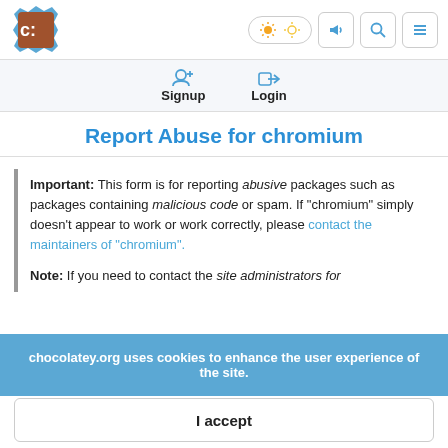[Figure (logo): Chocolatey logo - brown cookie with C: text on blue background]
Signup  Login  [nav icons]
Report Abuse for chromium
Important: This form is for reporting abusive packages such as packages containing malicious code or spam. If "chromium" simply doesn't appear to work or work correctly, please contact the maintainers of "chromium".
Note: If you need to contact the site administrators for
chocolatey.org uses cookies to enhance the user experience of the site.
I accept